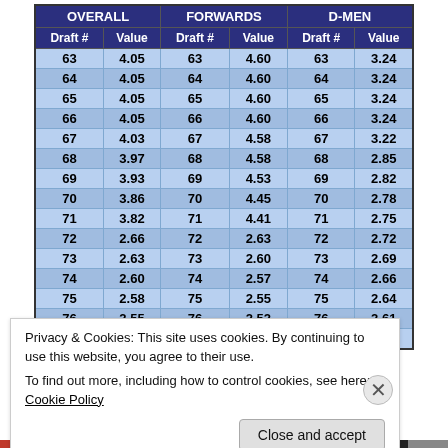| OVERALL |  | FORWARDS |  | D-MEN |  |
| --- | --- | --- | --- | --- | --- |
| 63 | 4.05 | 63 | 4.60 | 63 | 3.24 |
| 64 | 4.05 | 64 | 4.60 | 64 | 3.24 |
| 65 | 4.05 | 65 | 4.60 | 65 | 3.24 |
| 66 | 4.05 | 66 | 4.60 | 66 | 3.24 |
| 67 | 4.03 | 67 | 4.58 | 67 | 3.22 |
| 68 | 3.97 | 68 | 4.58 | 68 | 2.85 |
| 69 | 3.93 | 69 | 4.53 | 69 | 2.82 |
| 70 | 3.86 | 70 | 4.45 | 70 | 2.78 |
| 71 | 3.82 | 71 | 4.41 | 71 | 2.75 |
| 72 | 2.66 | 72 | 2.63 | 72 | 2.72 |
| 73 | 2.63 | 73 | 2.60 | 73 | 2.69 |
| 74 | 2.60 | 74 | 2.57 | 74 | 2.66 |
| 75 | 2.58 | 75 | 2.55 | 75 | 2.64 |
| 76 | 2.55 | 76 | 2.52 | 76 | 2.61 |
| 77 | 2.51 | 77 | 2.48 | 77 | 2.57 |
Privacy & Cookies: This site uses cookies. By continuing to use this website, you agree to their use.
To find out more, including how to control cookies, see here: Cookie Policy